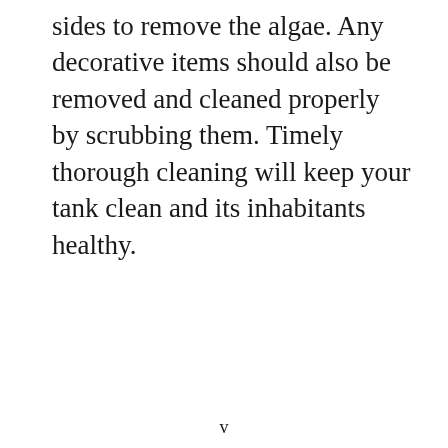sides to remove the algae. Any decorative items should also be removed and cleaned properly by scrubbing them. Timely thorough cleaning will keep your tank clean and its inhabitants healthy.
v